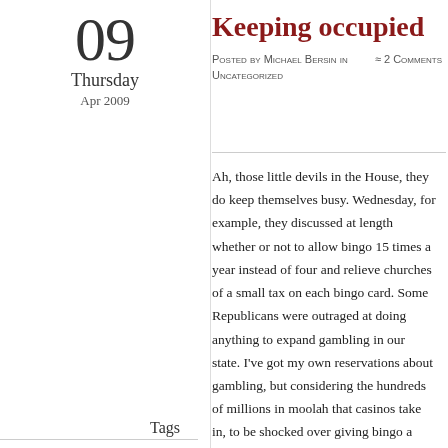09
Thursday
Apr 2009
Keeping occupied
Posted by Michael Bersin in Uncategorized ≈ 2 Comments
Ah, those little devils in the House, they do keep themselves busy. Wednesday, for example, they discussed at length whether or not to allow bingo 15 times a year instead of four and relieve churches of a small tax on each bingo card. Some Republicans were outraged at doing anything to expand gambling in our state. I've got my own reservations about gambling, but considering the hundreds of millions in moolah that casinos take in, to be shocked over giving bingo a break is akin to fretting about an ant wandering into a house that's collapsing from termite damage.
Tags
House, missouri
It's hardly surprising, typical, actually, that the floor